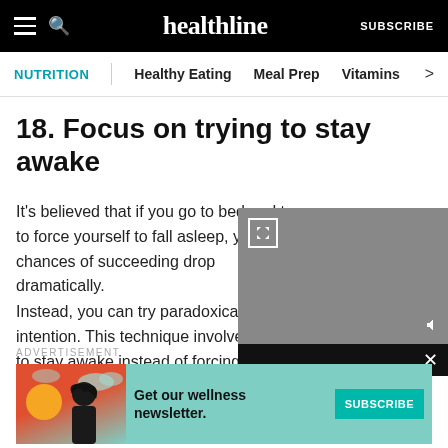healthline | SUBSCRIBE
NUTRITION | Healthy Eating | Meal Prep | Vitamins >
18. Focus on trying to stay awake
It's believed that if you go to bed and try to force yourself to fall asleep, your chances of succeeding drop dramatically.
Instead, you can try paradoxical intention. This technique involves trying to stay awake instead of forcing yourself to sleep.
[Figure (screenshot): Embedded video player overlay with expand icon and mute button, black bottom bar with close button]
ADVERTISEMENT
[Figure (infographic): Advertisement banner for Healthline wellness newsletter with illustrated woman, teal background, and SUBSCRIBE button]